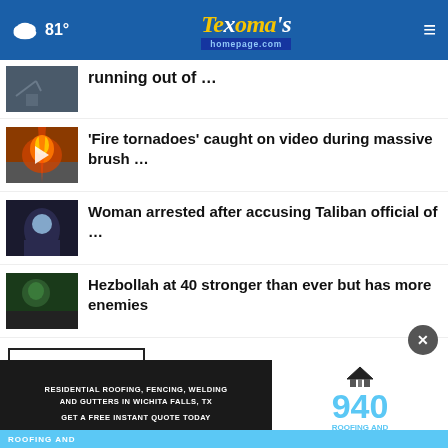81° Texoma's homepage.com
running out of …
'Fire tornadoes' caught on video during massive brush …
Woman arrested after accusing Taliban official of …
Hezbollah at 40 stronger than ever but has more enemies
More Stories ›
[Figure (screenshot): Advertisement banner: 940 Roofing and Construction — Residential Roofing, Fencing, Welding and Gutters in Wichita Falls, TX. Get a free instant quote today.]